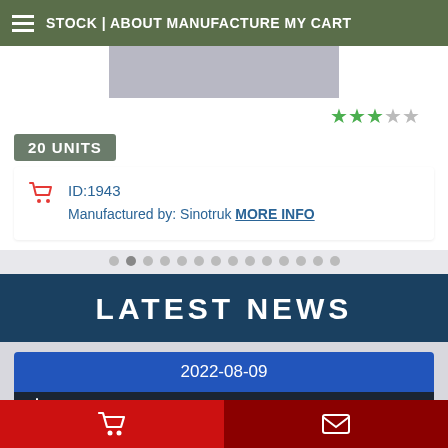STOCK | ABOUT MANUFACTURE MY CART
[Figure (screenshot): Gray photo placeholder at top of product listing]
[Figure (other): 3-star rating out of 5 green stars]
20 UNITS
ID:1943
Manufactured by: Sinotruk MORE INFO
[Figure (other): Carousel pagination dots, 14 dots with second active]
LATEST NEWS
2022-08-09
[Figure (screenshot): Lifehack: Problems and solutions banner image]
Cart and envelope icons in bottom navigation bar